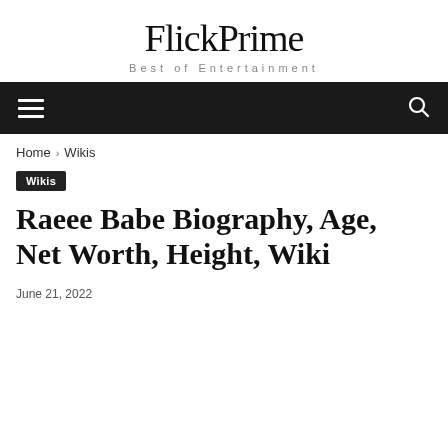FlickPrime
Best of Entertainment
☰  🔍
Home › Wikis
Wikis
Raeee Babe Biography, Age, Net Worth, Height, Wiki
June 21, 2022